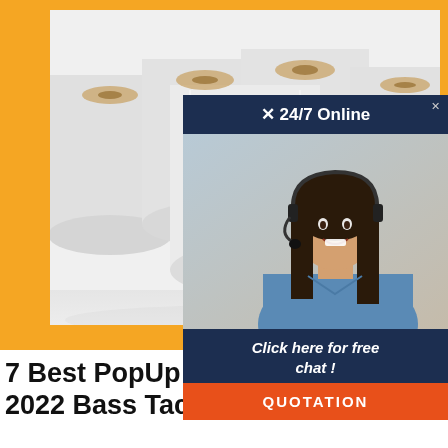[Figure (photo): Rolls of white paper/material arranged in a group, photographed from the front showing the circular ends, set against a white background within an orange-bordered frame.]
[Figure (infographic): Advertisement overlay with dark navy background showing '24/7 Online' header with a close button, a photo of a smiling woman with a headset (customer service representative), and a 'Click here for free chat!' message with an orange 'QUOTATION' button.]
7 Best PopUp Ice Fishing Shelters 2022 Bass Tackle ...
The Pexmor Ice Fishing Shelter is a monster unit meant to accommodate large groups of anglers. 9 people can easily fit inside the tent, making it the largest popup style ice fishing tent on the market. It measures 142" by 71" when laid flat ...